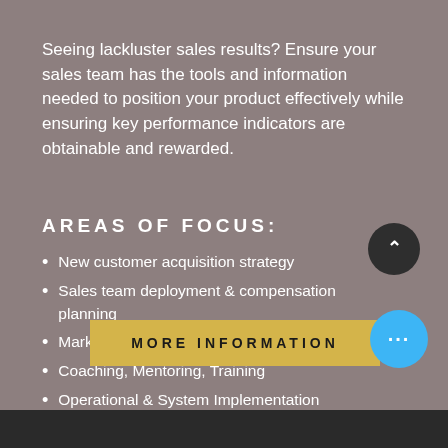Seeing lackluster sales results? Ensure your sales team has the tools and information needed to position your product effectively while ensuring key performance indicators are obtainable and rewarded.
AREAS OF FOCUS:
New customer acquisition strategy
Sales team deployment & compensation planning
Market Segmentation Review
Coaching, Mentoring, Training
Operational & System Implementation
MORE INFORMATION